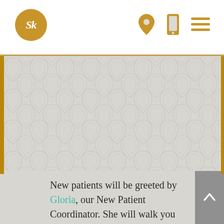SK logo with navigation icons (location pin, phone, menu)
[Figure (illustration): Large decorative background area with repeating teardrop/leaf watermark pattern in light grey, with a narrow gold/brown vertical accent bar on the left and right edges.]
New patients will be greeted by Gloria, our New Patient Coordinator. She will walk you through your initial appointment, which will vary based on your specific needs. We love